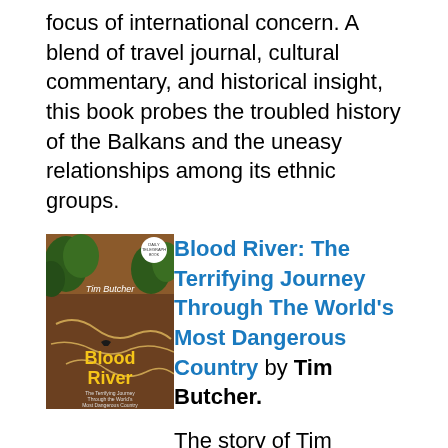focus of international concern. A blend of travel journal, cultural commentary, and historical insight, this book probes the troubled history of the Balkans and the uneasy relationships among its ethnic groups.
[Figure (illustration): Book cover of 'Blood River: The Terrifying Journey Through the World's Most Dangerous Country' by Tim Butcher. Cover shows a map-like illustration with river routes overlaid on a landscape, with the title in yellow and author name in white text on a brown/earth-toned background.]
Blood River: The Terrifying Journey Through The World's Most Dangerous Country by Tim Butcher.
The story of Tim Butcher's forty-four-day journey along the Congo River and his retracing H. M. Stanley's famous 1874 expedition in which he mapped the Congo River. Despite warnings that his plan was suicidal, Butcher set out for the